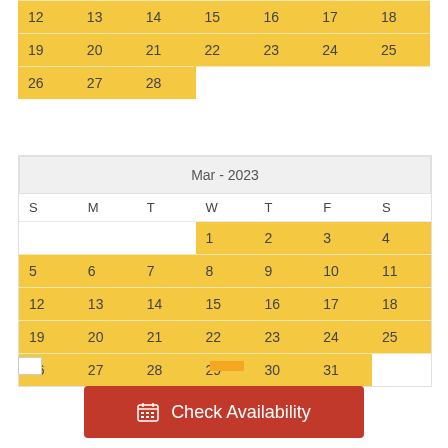| S | M | T | W | T | F | S |
| --- | --- | --- | --- | --- | --- | --- |
| 12 | 13 | 14 | 15 | 16 | 17 | 18 |
| 19 | 20 | 21 | 22 | 23 | 24 | 25 |
| 26 | 27 | 28 |  |  |  |  |
| S | M | T | W | T | F | S |
| --- | --- | --- | --- | --- | --- | --- |
|  |  |  | 1 | 2 | 3 | 4 |
| 5 | 6 | 7 | 8 | 9 | 10 | 11 |
| 12 | 13 | 14 | 15 | 16 | 17 | 18 |
| 19 | 20 | 21 | 22 | 23 | 24 | 25 |
| 26 | 27 | 28 | 29 | 30 | 31 |  |
Check Availability